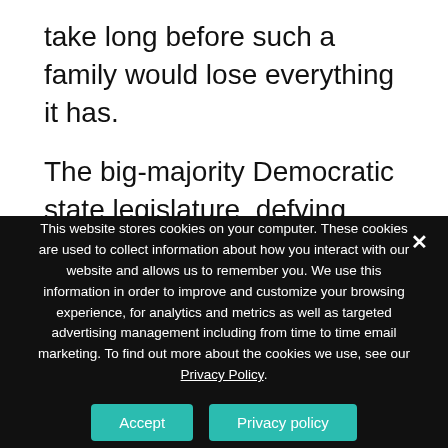take long before such a family would lose everything it has.
The big-majority Democratic state legislature, defying Illinois' balanced-budget law, has been passing deficit budgets for years. The new definition of a liberal is no longer tax-and-spend; it's borrow-and-spend.
This website stores cookies on your computer. These cookies are used to collect information about how you interact with our website and allows us to remember you. We use this information in order to improve and customize your browsing experience, for analytics and metrics as well as targeted advertising management including from time to time email marketing. To find out more about the cookies we use, see our Privacy Policy.